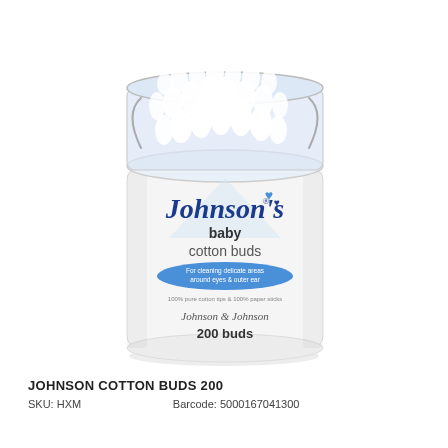[Figure (photo): Johnson's baby cotton buds in a round clear-lidded white plastic container. The transparent lid shows many white cotton buds/swabs standing upright. The white container body displays the Johnson's baby branding with blue cursive 'Johnson's' logo, two blue hearts, 'baby cotton buds' text, a blue oval badge reading 'For cleaning delicate areas around eyes & outer ear', smaller text '100% pure cotton tips & 100% paper sticks', 'Johnson & Johnson' script, and '200 buds' text.]
JOHNSON COTTON BUDS 200
SKU: HXM                    Barcode: 5000167041300